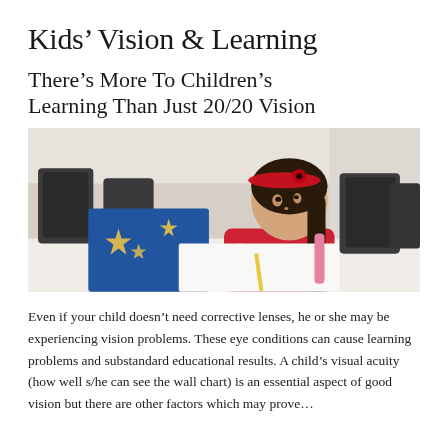Kids' Vision & Learning
There's More To Children's Learning Than Just 20/20 Vision
[Figure (photo): A young girl with dark braided hair and a red headband, wearing a red shirt, writing or drawing at a desk in a classroom setting with dark chairs visible in the background.]
Even if your child doesn't need corrective lenses, he or she may be experiencing vision problems. These eye conditions can cause learning problems and substandard educational results. A child's visual acuity (how well s/he can see the wall chart) is an essential aspect of good vision but there are other factors which may prove…